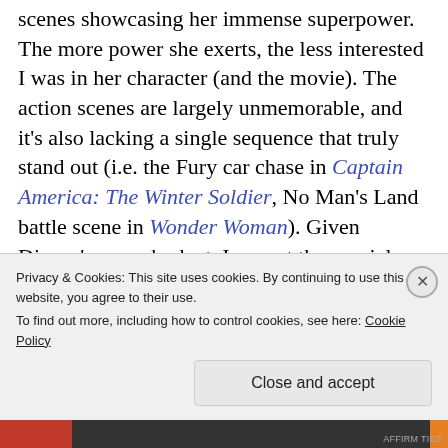scenes showcasing her immense superpower. The more power she exerts, the less interested I was in her character (and the movie). The action scenes are largely unmemorable, and it's also lacking a single sequence that truly stand out (i.e. the Fury car chase in Captain America: The Winter Soldier, No Man's Land battle scene in Wonder Woman). Given Disney's mega budget, I expect the special effects to be top notch and they are, but then this is not for the story exhibit...
Privacy & Cookies: This site uses cookies. By continuing to use this website, you agree to their use.
To find out more, including how to control cookies, see here: Cookie Policy
Close and accept